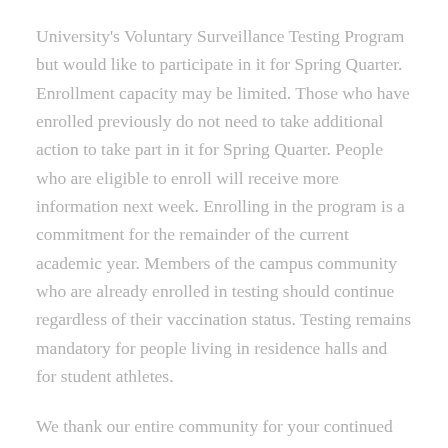University's Voluntary Surveillance Testing Program but would like to participate in it for Spring Quarter. Enrollment capacity may be limited. Those who have enrolled previously do not need to take additional action to take part in it for Spring Quarter. People who are eligible to enroll will receive more information next week. Enrolling in the program is a commitment for the remainder of the current academic year. Members of the campus community who are already enrolled in testing should continue regardless of their vaccination status. Testing remains mandatory for people living in residence halls and for student athletes.
We thank our entire community for your continued diligence and care for each other in taking precautions against the pandemic. Those efforts have clearly been paying off, and we ask for your help in maintaining a safe